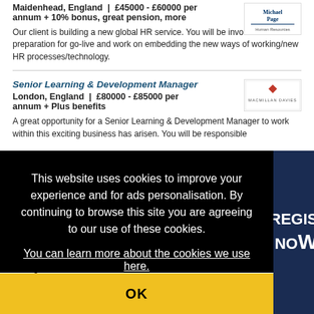Maidenhead, England | £45000 - £60000 per annum + 10% bonus, great pension, more
Our client is building a new global HR service. You will be involved in the preparation for go-live and work on embedding the new ways of working/new HR processes/technology.
Senior Learning & Development Manager
London, England | £80000 - £85000 per annum + Plus benefits
A great opportunity for a Senior Learning & Development Manager to work within this exciting business has arisen. You will be responsible
This website uses cookies to improve your experience and for ads personalisation. By continuing to browse this site you are agreeing to our use of these cookies. You can learn more about the cookies we use here.
OK